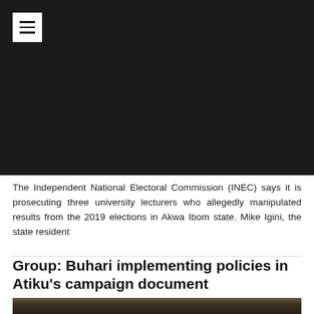[Figure (photo): Dark image area at top of page, possibly a video or photo with black background and a white hamburger menu button in top-left corner]
The Independent National Electoral Commission (INEC) says it is prosecuting three university lecturers who allegedly manipulated results from the 2019 elections in Akwa Ibom state. Mike Igini, the state resident
Group: Buhari implementing policies in Atiku's campaign document
[Figure (photo): Partial photo of a person visible at the bottom of the page]